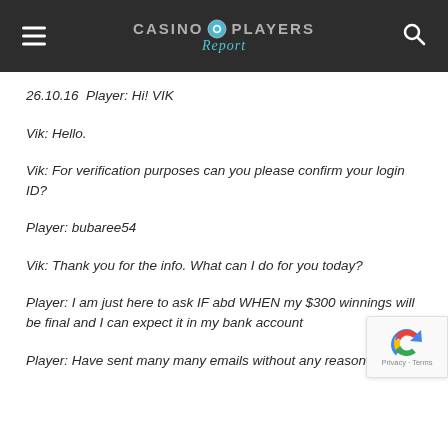Casino Players Report
26.10.16  Player: Hi! VIK
Vik: Hello.
Vik: For verification purposes can you please confirm your login ID?
Player: bubaree54
Vik: Thank you for the info. What can I do for you today?
Player: I am just here to ask IF abd WHEN my $300 winnings will be final and I can expect it in my bank account
Player: Have sent many many emails without any reasonable